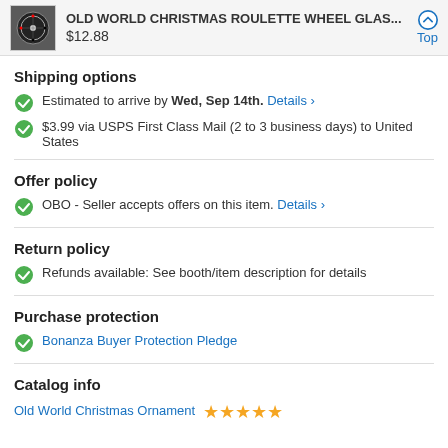OLD WORLD CHRISTMAS ROULETTE WHEEL GLAS... $12.88
Shipping options
Estimated to arrive by Wed, Sep 14th. Details >
$3.99 via USPS First Class Mail (2 to 3 business days) to United States
Offer policy
OBO - Seller accepts offers on this item. Details >
Return policy
Refunds available: See booth/item description for details
Purchase protection
Bonanza Buyer Protection Pledge
Catalog info
Old World Christmas Ornament ★★★★★